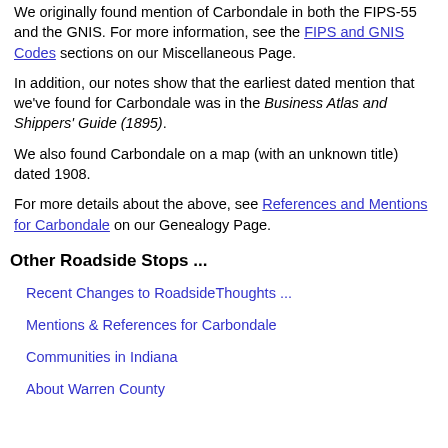We originally found mention of Carbondale in both the FIPS-55 and the GNIS. For more information, see the FIPS and GNIS Codes sections on our Miscellaneous Page.
In addition, our notes show that the earliest dated mention that we've found for Carbondale was in the Business Atlas and Shippers' Guide (1895).
We also found Carbondale on a map (with an unknown title) dated 1908.
For more details about the above, see References and Mentions for Carbondale on our Genealogy Page.
Other Roadside Stops ...
Recent Changes to RoadsideThoughts ...
Mentions & References for Carbondale
Communities in Indiana
About Warren County